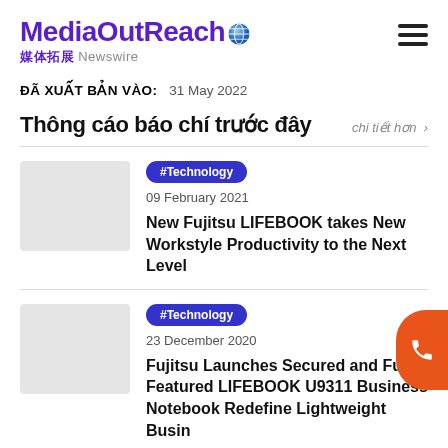[Figure (logo): MediaOutReach globe logo with purple text and Chinese characters, Newswire subtitle]
ĐÃ XUẤT BẢN VÀO:   31 May 2022
Thông cáo báo chí trước đây
chi tiết hơn >
#Technology
09 February 2021
New Fujitsu LIFEBOOK takes New Workstyle Productivity to the Next Level
#Technology
23 December 2020
Fujitsu Launches Secured and Full-Featured LIFEBOOK U9311 Business Notebook Redefine Lightweight Business